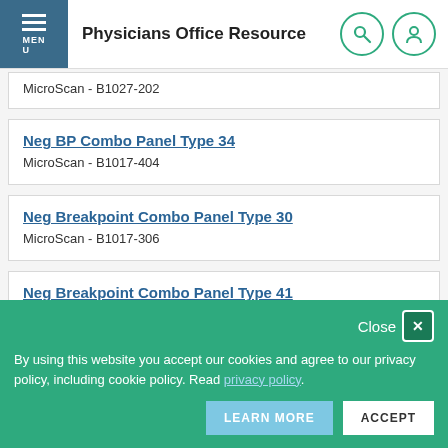Physicians Office Resource
MicroScan - B1027-202
Neg BP Combo Panel Type 34
MicroScan - B1017-404
Neg Breakpoint Combo Panel Type 30
MicroScan - B1017-306
Neg Breakpoint Combo Panel Type 41
MicroScan - B1017-408
Close
By using this website you accept our cookies and agree to our privacy policy, including cookie policy. Read privacy policy.
LEARN MORE  ACCEPT